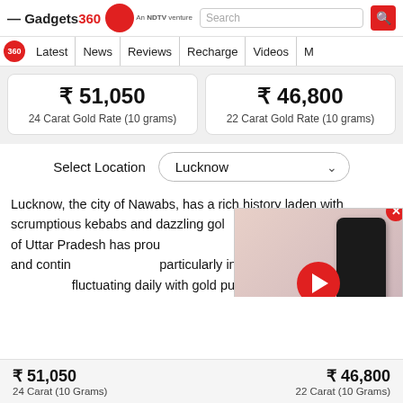Gadgets 360 — An NDTV venture | Search | Latest | News | Reviews | Recharge | Videos | M
| 24 Carat Gold Rate (10 grams) | 22 Carat Gold Rate (10 grams) |
| --- | --- |
| ₹ 51,050 | ₹ 46,800 |
Select Location  Lucknow
Lucknow, the city of Nawabs, has a rich history laden with scrumptious kebabs and dazzling gold. capital city of Uttar Pradesh has proud love for this precious metal and contin particularly in ornaments. However, th fluctuating daily with gold purchases skyrocketing
| 24 Carat (10 Grams) | 22 Carat (10 Grams) |
| --- | --- |
| ₹ 51,050 | ₹ 46,800 |